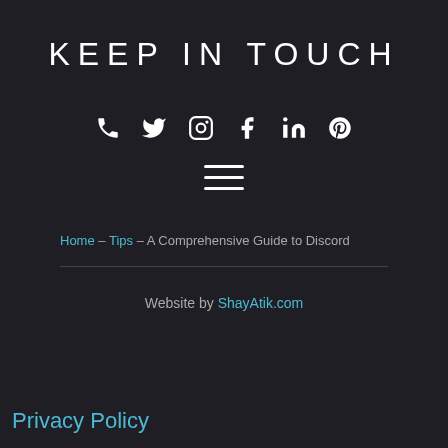KEEP IN TOUCH
[Figure (infographic): Social media icons row: phone, Twitter, Instagram, Facebook, LinkedIn, Pinterest]
[Figure (infographic): Hamburger/menu icon (three horizontal lines)]
Home – Tips – A Comprehensive Guide to Discord
Website by ShayAtik.com
Privacy Policy